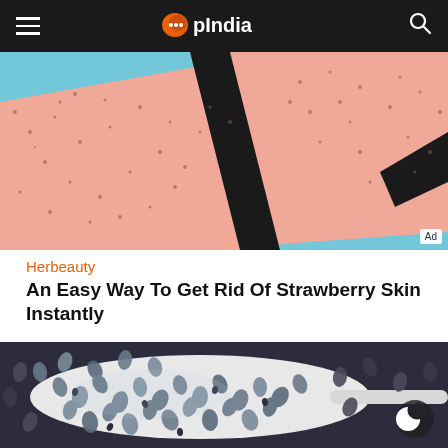OpIndia
[Figure (photo): Close-up illustration of skin with dark spots/pores (strawberry skin) against a teal background, with an 'Ad' badge in the lower right corner]
Herbeauty
An Easy Way To Get Rid Of Strawberry Skin Instantly
[Figure (photo): Close-up photo of chia seeds soaked in water on a spoon, showing swollen translucent seeds with dark centers]